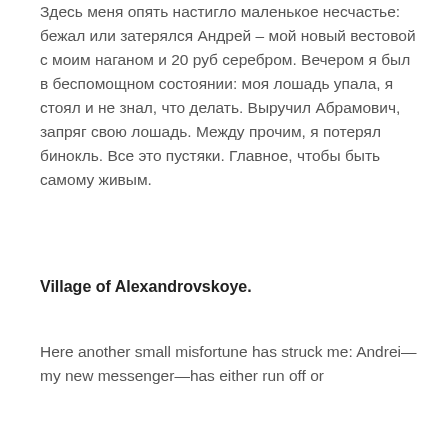Здесь меня опять настигло маленькое несчастье: бежал или затерялся Андрей – мой новый вестовой с моим наганом и 20 руб серебром. Вечером я был в беспомощном состоянии: моя лошадь упала, я стоял и не знал, что делать. Выручил Абрамович, запряг свою лошадь. Между прочим, я потерял бинокль. Все это пустяки. Главное, чтобы быть самому живым.
Village of Alexandrovskoye.
Here another small misfortune has struck me: Andrei—my new messenger—has either run off or